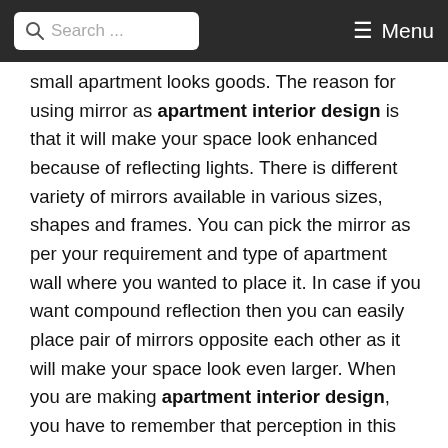Search ... Menu
small apartment looks goods. The reason for using mirror as apartment interior design is that it will make your space look enhanced because of reflecting lights. There is different variety of mirrors available in various sizes, shapes and frames. You can pick the mirror as per your requirement and type of apartment wall where you wanted to place it. In case if you want compound reflection then you can easily place pair of mirrors opposite each other as it will make your space look even larger. When you are making apartment interior design, you have to remember that perception in this case is near to reality.